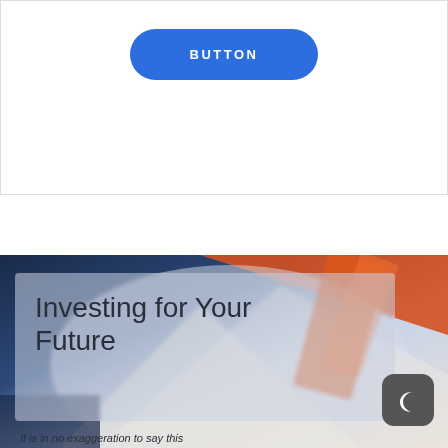[Figure (other): A rounded blue button with white uppercase text reading BUTTON on a white background with a light border]
[Figure (photo): A photo of financial documents and papers with orange, blue, and white tones, overlaid with a semi-transparent frosted glass box containing the text 'Investing for Your Future' and a dark moon icon button in the lower right]
Investing for Your Future
It is in no exaggeration to say this